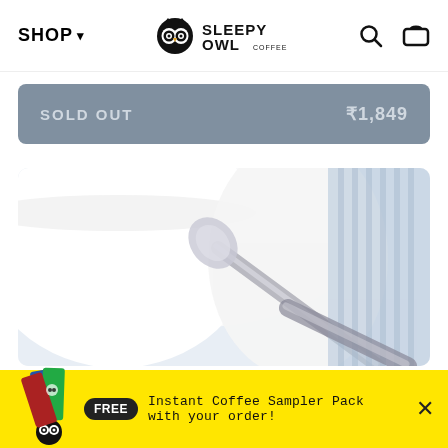SHOP ▾  [Sleepy Owl Coffee Logo]  🔍  🛒
SOLD OUT  ₹1,849
[Figure (photo): Close-up product photo of white ceramic coffee cups and a spoon on a light blue background]
FREE  Instant Coffee Sampler Pack with your order!  ✕